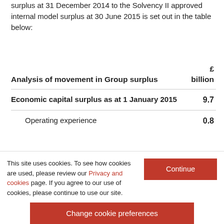surplus at 31 December 2014 to the Solvency II approved internal model surplus at 30 June 2015 is set out in the table below:
| Analysis of movement in Group surplus | £ billion |
| --- | --- |
| Economic capital surplus as at 1 January 2015 | 9.7 |
| Operating experience | 0.8 |
This site uses cookies. To see how cookies are used, please review our Privacy and cookies page. If you agree to our use of cookies, please continue to use our site.